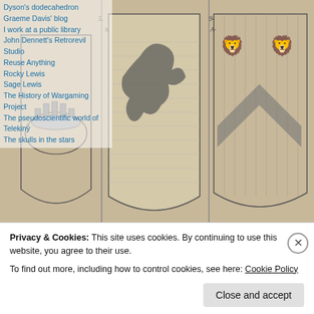[Figure (illustration): Historical heraldry plate showing coats of arms with captions: Charles King of Sweden 467, John George Duke of Saxony 469, Cristopher Duke of Albemarle 470, William Earle, Henry Earle, Thomas Earle. Background is aged parchment with engraved heraldic shields and crowns.]
Dyson's dodecahedron
Graeme Davis' blog
I work at a public library
John Dennett's Retrorevil Studio
Reuse Anything
Rocky Lewis
Sage Lewis
The History of Wargaming Project
The pseudoscientific world of Telekiný
The skulls in the stars
Privacy & Cookies: This site uses cookies. By continuing to use this website, you agree to their use.
To find out more, including how to control cookies, see here: Cookie Policy
Close and accept